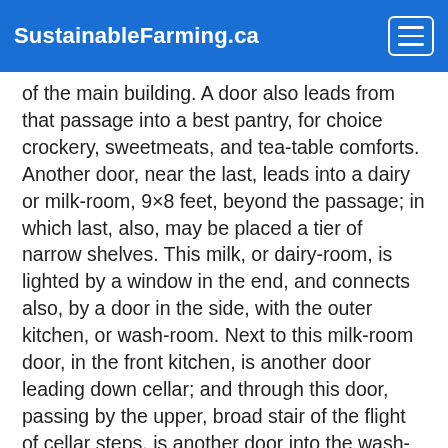SustainableFarming.ca
of the main building. A door also leads from that passage into a best pantry, for choice crockery, sweetmeats, and tea-table comforts. Another door, near the last, leads into a dairy or milk-room, 9×8 feet, beyond the passage; in which last, also, may be placed a tier of narrow shelves. This milk, or dairy-room, is lighted by a window in the end, and connects also, by a door in the side, with the outer kitchen, or wash-room. Next to this milk-room door, in the front kitchen, is another door leading down cellar; and through this door, passing by the upper, broad stair of the flight of cellar steps, is another door into the wash-room. At 108 the farther angle of the kitchen is still another door, opening into a passage four feet wide; and, in that passage, a door leading up a flight of stairs into the wing chambers. This passage opens into the back kitchen, or wash-room, 16×16 feet in area, and lighted by two windows, one of which looks into the wood